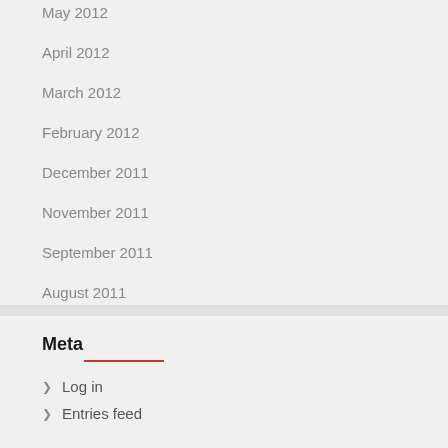May 2012
April 2012
March 2012
February 2012
December 2011
November 2011
September 2011
August 2011
July 2011
Meta
Log in
Entries feed